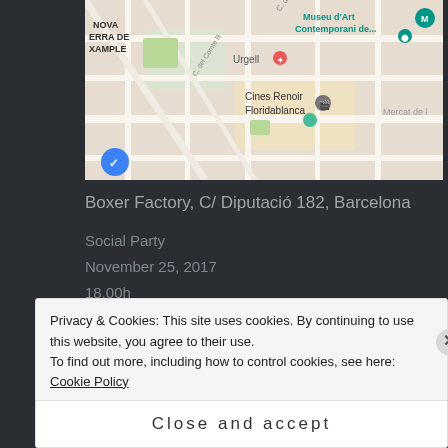[Figure (map): Google Maps screenshot showing area near Boxer Factory, C/ Diputació 182, Barcelona. Shows Museu d'Art Contemporani de..., Urgell, Cines Renoir Floridablanca, Mercat de l, Nova Serra de Xample.]
Boxer Factory, C/ Diputació 182, Barcelona
Social Party
November 25, 2017
18.00h
INSTAGRAM
No Instagram images were found.
Privacy & Cookies: This site uses cookies. By continuing to use this website, you agree to their use.
To find out more, including how to control cookies, see here: Cookie Policy
Close and accept